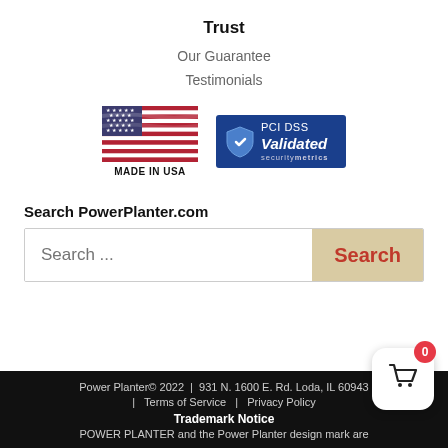Trust
Our Guarantee
Testimonials
[Figure (logo): Made in USA flag badge and PCI DSS Validated SecurityMetrics badge]
Search PowerPlanter.com
Search ...
Power Planter© 2022  |  931 N. 1600 E. Rd. Loda, IL 60943  |  Terms of Service  |  Privacy Policy
Trademark Notice
POWER PLANTER and the Power Planter design mark are